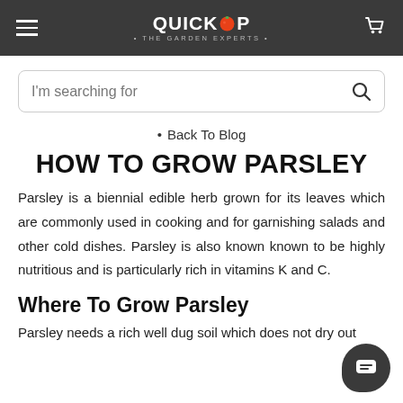QUICKCROP • THE GARDEN EXPERTS •
[Figure (screenshot): Search bar with placeholder text 'I'm searching for' and a magnifying glass icon on the right]
Back To Blog
HOW TO GROW PARSLEY
Parsley is a biennial edible herb grown for its leaves which are commonly used in cooking and for garnishing salads and other cold dishes. Parsley is also known known to be highly nutritious and is particularly rich in vitamins K and C.
Where To Grow Parsley
Parsley needs a rich well dug soil which does not dry out